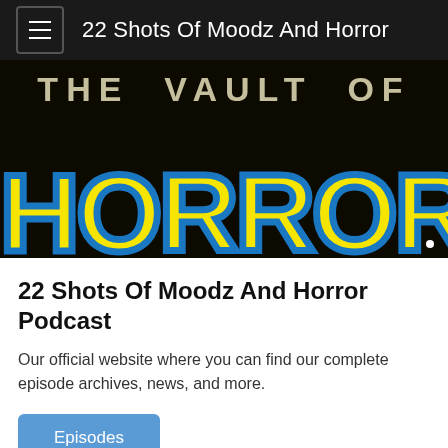22 Shots Of Moodz And Horror
[Figure (illustration): Horror comic book style banner image showing 'THE VAULT OF HORROR' text on black background — 'HORROR' in large yellow letters with blue outline, 'THE VAULT OF' in smaller lighter text above]
22 Shots Of Moodz And Horror Podcast
Our official website where you can find our complete episode archives, news, and more.
Episodes
Vestron Videos Horror Classic Parents Arrives